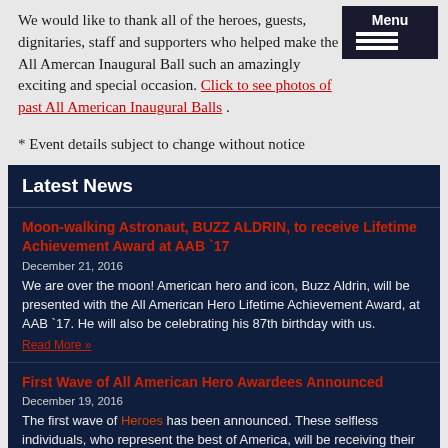We would like to thank all of the heroes, guests, dignitaries, staff and supporters who helped make the All Amercan Inaugural Ball such an amazingly exciting and special occasion. Click to see photos of past All American Inaugural Balls .
* Event details subject to change without notice
Latest News
Moon-walking Astronaut, BUZZ ALDRIN, to receive Lifetime Achievement Award at AAB `17
December 21, 2016
We are over the moon!  American hero and icon, Buzz Aldrin, will be presented with the All American Hero Lifetime Achievement Award, at AAB `17.  He will also be celebrating his 87th birthday with us.
Read More »
First Wave of All American Hero Awardees Announced
December 19, 2016
The first wave of Heroes has been announced.  These selfless individuals, who represent the best of America, will be receiving their awards at the AAB `17.